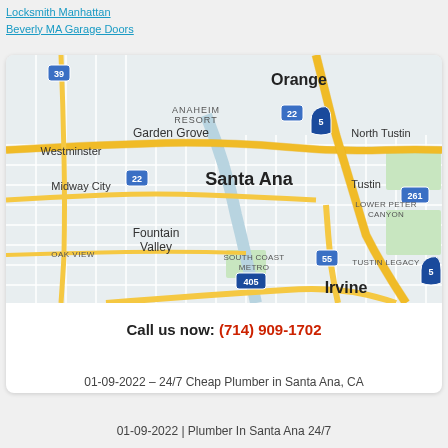Locksmith Manhattan
Beverly MA Garage Doors
[Figure (map): Google Maps view of Santa Ana, CA area showing Orange, Garden Grove, Westminster, Midway City, Fountain Valley, Tustin, North Tustin, Irvine, South Coast Metro, Tustin Legacy, Lower Peter Canyon, Oak View areas with highways 5, 22, 39, 55, 261, 405]
Call us now: (714) 909-1702
01-09-2022 - 24/7 Cheap Plumber in Santa Ana, CA
01-09-2022 | Plumber In Santa Ana 24/7